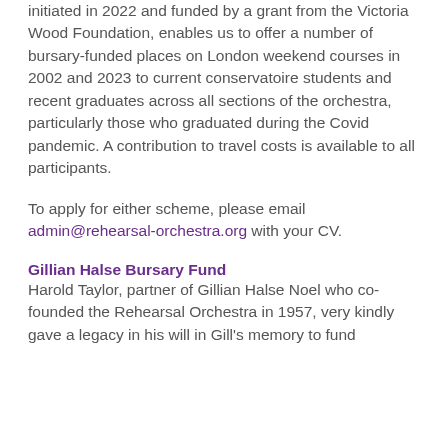initiated in 2022 and funded by a grant from the Victoria Wood Foundation, enables us to offer a number of bursary-funded places on London weekend courses in 2002 and 2023 to current conservatoire students and recent graduates across all sections of the orchestra, particularly those who graduated during the Covid pandemic. A contribution to travel costs is available to all participants.
To apply for either scheme, please email admin@rehearsal-orchestra.org with your CV.
Gillian Halse Bursary Fund
Harold Taylor, partner of Gillian Halse Noel who co-founded the Rehearsal Orchestra in 1957, very kindly gave a legacy in his will in Gill's memory to fund